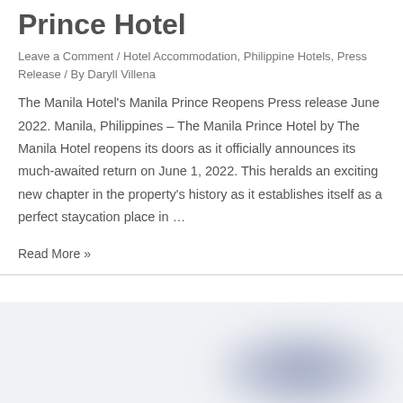Prince Hotel
Leave a Comment / Hotel Accommodation, Philippine Hotels, Press Release / By Daryll Villena
The Manila Hotel's Manila Prince Reopens Press release June 2022. Manila, Philippines – The Manila Prince Hotel by The Manila Hotel reopens its doors as it officially announces its much-awaited return on June 1, 2022. This heralds an exciting new chapter in the property's history as it establishes itself as a perfect staycation place in …
Read More »
[Figure (photo): Blurred image section at the bottom of the page, showing a light grey-blue background with a blurred dark blue/purple blob shape on the right side]